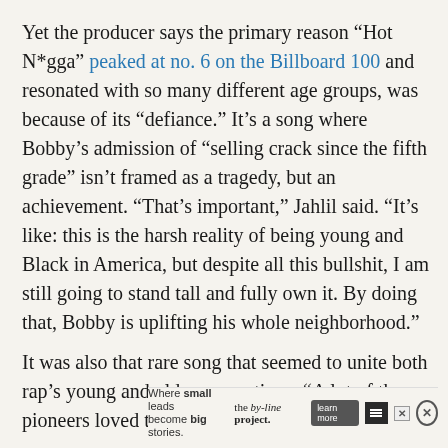Yet the producer says the primary reason “Hot N*gga” peaked at no. 6 on the Billboard 100 and resonated with so many different age groups, was because of its “defiance.” It’s a song where Bobby’s admission of “selling crack since the fifth grade” isn’t framed as a tragedy, but an achievement. “That’s important,” Jahlil said. “It’s like: this is the harsh reality of being young and Black in America, but despite all this bullshit, I am still going to stand tall and fully own it. By doing that, Bobby is uplifting his whole neighborhood.”
It was also that rare song that seemed to unite both rap’s young and older generations. “A lot of the pioneers loved the song bec rising